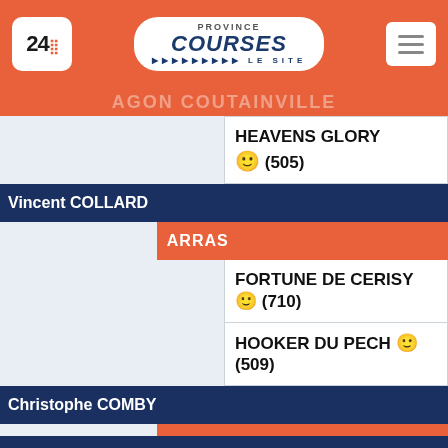24h Province Courses Le Site
AGON COUTAINVILLE
HEAVENS GLORY 😊 (505)
Vincent COLLARD
ARRAS
FORTUNE DE CERISY 😐 (710)
HOOKER DU PECH 😐 (509)
Christophe COMBY
CAVAILLON
HASTINGS 😐 (802)
HERO ARCTIC 😐 (804)